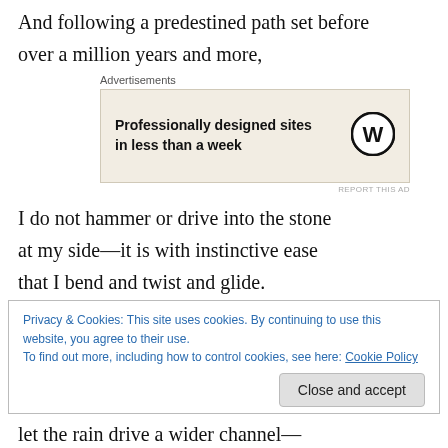And following a predestined path set before
over a million years and more,
[Figure (other): Advertisement banner: Professionally designed sites in less than a week, with WordPress logo]
I do not hammer or drive into the stone
at my side—it is with instinctive ease
that I bend and twist and glide.
Privacy & Cookies: This site uses cookies. By continuing to use this website, you agree to their use. To find out more, including how to control cookies, see here: Cookie Policy
let the rain drive a wider channel—